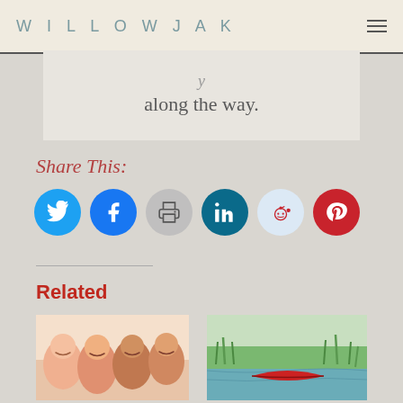WILLOWJAK
along the way.
Share This:
[Figure (infographic): Row of six social media share buttons: Twitter (blue bird), Facebook (blue f), Print (gray printer), LinkedIn (dark teal in), Reddit (light blue alien), Pinterest (red P)]
Related
[Figure (photo): Group selfie of four women smiling, wearing swimwear, outdoors]
[Figure (photo): Red canoe on a calm river with green marsh grass and reeds in the background]